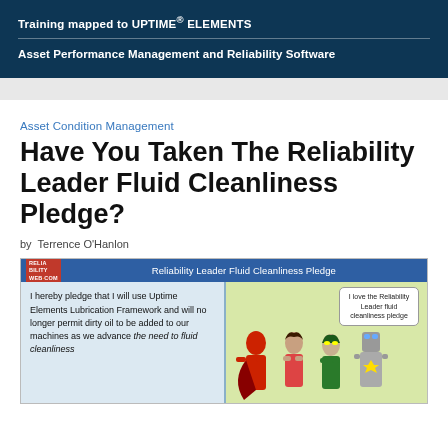Training mapped to UPTIME® ELEMENTS
Asset Performance Management and Reliability Software
Asset Condition Management
Have You Taken The Reliability Leader Fluid Cleanliness Pledge?
by Terrence O'Hanlon
[Figure (illustration): Illustration of the Reliability Leader Fluid Cleanliness Pledge with comic-style superhero characters and pledge text: 'I hereby pledge that I will use Uptime Elements Lubrication Framework and will no longer permit dirty oil to be added to our machines as we advance the need to fluid cleanliness']